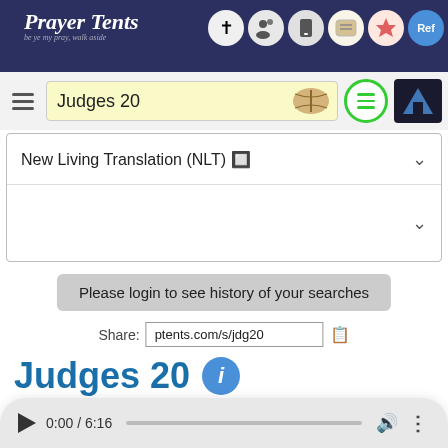Prayer Tents
Judges 20
New Living Translation (NLT) 🔲
Please login to see history of your searches
Share: ptents.com/s/jdg20
Judges 20
New Living Translation